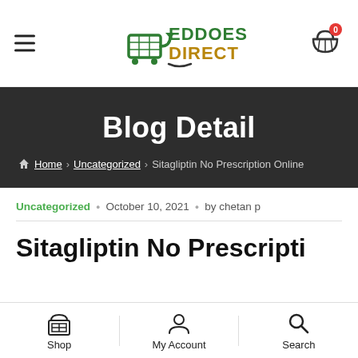Eddoes Direct — navigation header with hamburger menu and cart
Blog Detail
Home › Uncategorized › Sitagliptin No Prescription Online
Uncategorized · October 10, 2021 · by chetan p
Sitagliptin No Prescripti…
Shop | My Account | Search